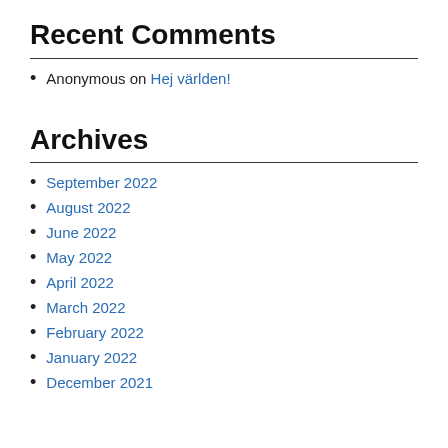Recent Comments
Anonymous on Hej världen!
Archives
September 2022
August 2022
June 2022
May 2022
April 2022
March 2022
February 2022
January 2022
December 2021